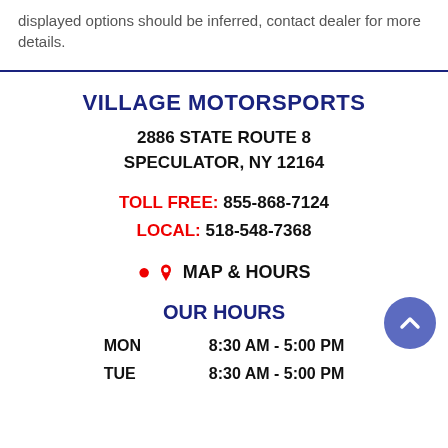displayed options should be inferred, contact dealer for more details.
VILLAGE MOTORSPORTS
2886 STATE ROUTE 8
SPECULATOR, NY 12164
TOLL FREE: 855-868-7124
LOCAL: 518-548-7368
MAP & HOURS
OUR HOURS
MON   8:30 AM - 5:00 PM
TUE   8:30 AM - 5:00 PM